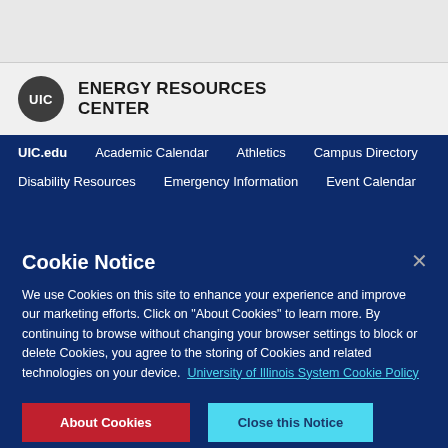[Figure (logo): UIC Energy Resources Center logo with circular UIC badge and bold text]
UIC.edu  Academic Calendar  Athletics  Campus Directory  Disability Resources  Emergency Information  Event Calendar
Cookie Notice
We use Cookies on this site to enhance your experience and improve our marketing efforts. Click on "About Cookies" to learn more. By continuing to browse without changing your browser settings to block or delete Cookies, you agree to the storing of Cookies and related technologies on your device.  University of Illinois System Cookie Policy